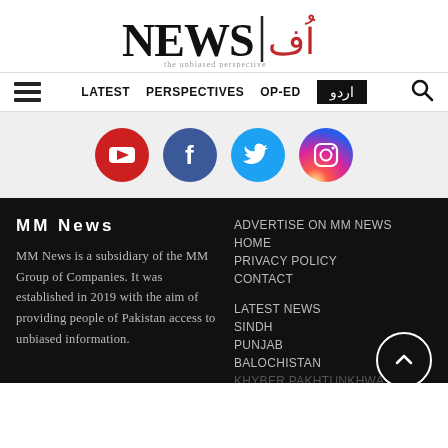[Figure (logo): MM News logo with 'NEWS' in large black serif text and Urdu script in red, with tagline 'the unbiased perspective']
LATEST   PERSPECTIVES   OP-ED   اردو
[Figure (infographic): Social media icons row: YouTube (red), Facebook (blue), Twitter (light blue), Instagram (gradient)]
MM News
MM News is a subsidiary of the MM Group of Companies. It was established in 2019 with the aim of providing people of Pakistan access to unbiased information.
ADVERTISE ON MM NEWS
HOME
PRIVACY POLICY
CONTACT
LATEST NEWS
SINDH
PUNJAB
BALOCHISTAN
KHYBER PAKHTUNKHWA